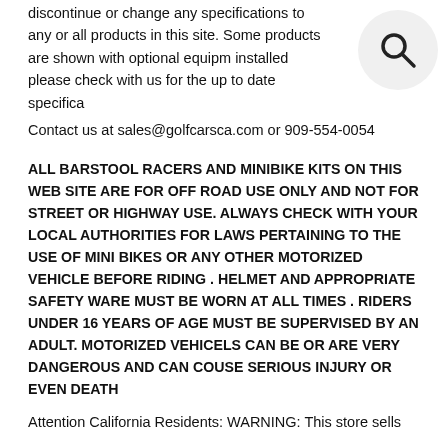discontinue or change any specifications to any or all products in this site. Some products are shown with optional equipment installed please check with us for the up to date specifica
[Figure (illustration): Search icon — a magnifying glass inside a light gray circle, positioned in the upper right area of the page.]
Contact us at sales@golfcarsca.com or 909-554-0054
ALL BARSTOOL RACERS AND MINIBIKE KITS ON THIS WEB SITE ARE FOR OFF ROAD USE ONLY AND NOT FOR STREET OR HIGHWAY USE. ALWAYS CHECK WITH YOUR LOCAL AUTHORITIES FOR LAWS PERTAINING TO THE USE OF MINI BIKES OR ANY OTHER MOTORIZED VEHICLE BEFORE RIDING . HELMET AND APPROPRIATE SAFETY WARE MUST BE WORN AT ALL TIMES . RIDERS UNDER 16 YEARS OF AGE MUST BE SUPERVISED BY AN ADULT. MOTORIZED VEHICELS CAN BE OR ARE VERY DANGEROUS AND CAN COUSE SERIOUS INJURY OR EVEN DEATH
Attention California Residents: WARNING: This store sells